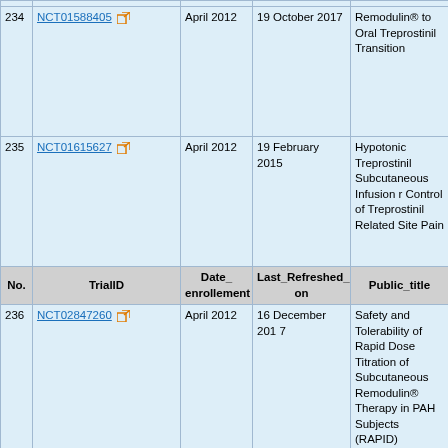| No. | TrialID | Date_enrollement | Last_Refreshed_on | Public_title |
| --- | --- | --- | --- | --- |
| 234 | NCT01588405 | April 2012 | 19 October 2017 | Remodulin® to Oral Treprostinil Transition |
| 235 | NCT01615627 | April 2012 | 19 February 2015 | Hypotonic Treprostinil Subcutaneous Infusion r Control of Treprostinil Related Site Pain |
| [header row] | No. | TrialID | Date_enrollement | Last_Refreshed_on | Public_title |  |  |  |
| 236 | NCT02847260 | April 2012 | 16 December 2017 | Safety and Tolerability of Rapid Dose Titration of Subcutaneous Remodulin® Therapy in PAH Subjects (RAPID) |